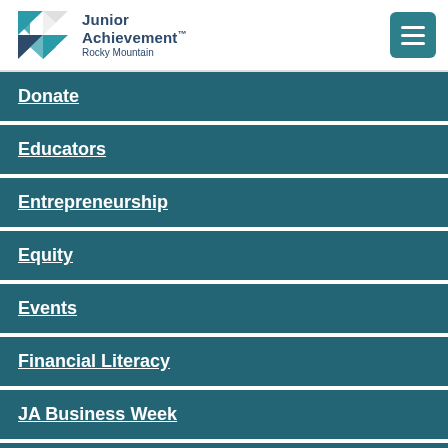Junior Achievement Rocky Mountain
Donate
Educators
Entrepreneurship
Equity
Events
Financial Literacy
JA Business Week
JA Finance Park